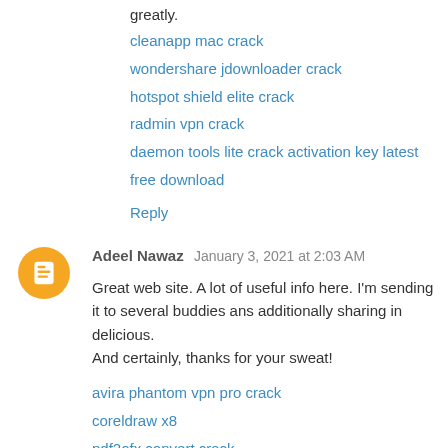greatly.
cleanapp mac crack
wondershare jdownloader crack
hotspot shield elite crack
radmin vpn crack
daemon tools lite crack activation key latest free download
Reply
Adeel Nawaz  January 3, 2021 at 2:03 AM
Great web site. A lot of useful info here. I'm sending it to several buddies ans additionally sharing in delicious. And certainly, thanks for your sweat!
avira phantom vpn pro crack
coreldraw x8
pdf2ofx convert crack
auslogics boostspeed crack
adobe photoshop
Reply